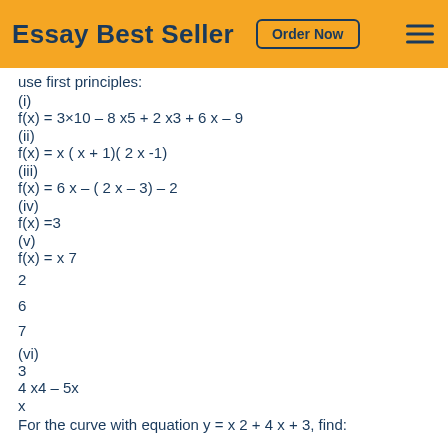Essay Best Seller   Order Now
use first principles:
(i)
(ii)
(iii)
(iv)
(v)
2
6
7
(vi)
3
x
For the curve with equation y = x 2 + 4 x + 3,  find: